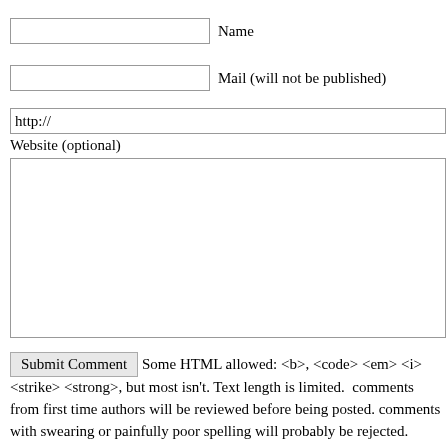Name
Mail (will not be published)
http://
Website (optional)
Submit Comment  Some HTML allowed: <b>, <code> <em> <i> <strike> <strong>, but most isn't. Text length is limited.  comments from first time authors will be reviewed before being posted. comments with swearing or painfully poor spelling will probably be rejected.